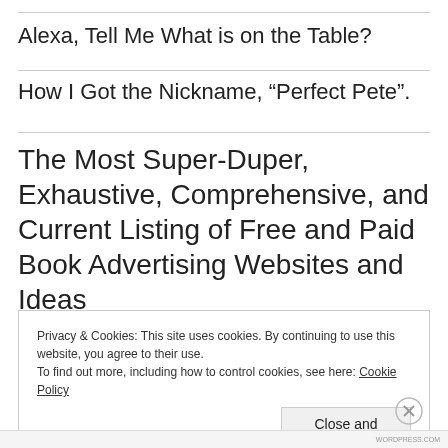Alexa, Tell Me What is on the Table?
How I Got the Nickname, “Perfect Pete”.
The Most Super-Duper, Exhaustive, Comprehensive, and Current Listing of Free and Paid Book Advertising Websites and Ideas
Privacy & Cookies: This site uses cookies. By continuing to use this website, you agree to their use.
To find out more, including how to control cookies, see here: Cookie Policy
Close and accept